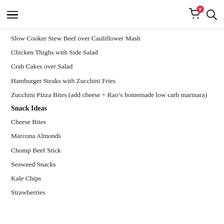Navigation header with hamburger menu, cart icon with badge 0, and search icon
Slow Cooker Stew Beef over Cauliflower Mash
Chicken Thighs with Side Salad
Crab Cakes over Salad
Hamburger Steaks with Zucchini Fries
Zucchini Pizza Bites (add cheese + Rao’s homemade low carb marinara)
Snack Ideas
Cheese Bites
Marcona Almonds
Chomp Beef Stick
Seaweed Snacks
Kale Chips
Strawberries